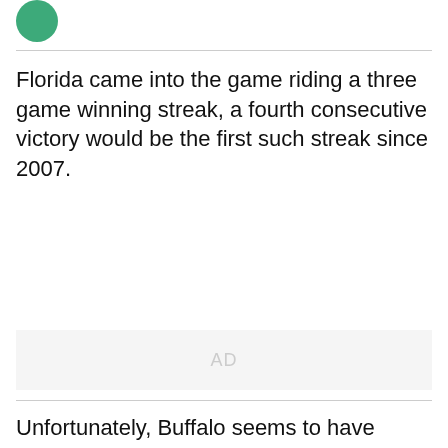[Figure (logo): Green circular logo partially visible at top left]
Florida came into the game riding a three game winning streak, a fourth consecutive victory would be the first such streak since 2007.
[Figure (other): Advertisement placeholder area with 'AD' label]
Unfortunately, Buffalo seems to have something to say about that.